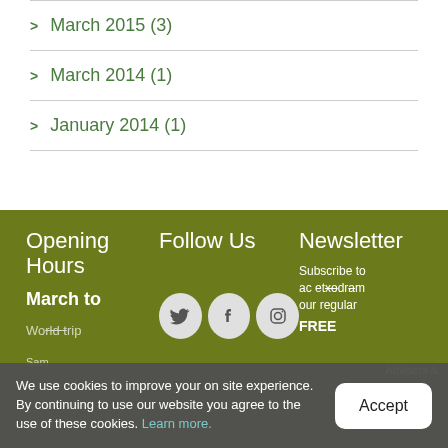> March 2015 (3)
> March 2014 (1)
> January 2014 (1)
Opening Hours
Follow Us
Newsletter
[Figure (illustration): Three social media icons: Twitter, Facebook, Instagram in light grey circles]
Subscribe to our regular FREE
March to
We use cookies to improve your on site experience. By continuing to use our website you agree to the use of these cookies. Learn more.